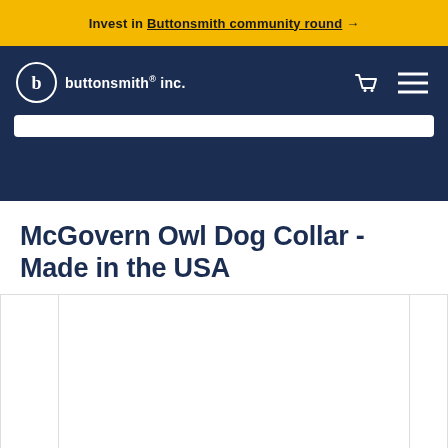Invest in Buttonsmith community round →
[Figure (logo): Buttonsmith inc. logo — circle with letter b, text 'buttonsmith® inc.' in white on dark navy background, with cart icon and hamburger menu icon]
McGovern Owl Dog Collar - Made in the USA
[Figure (photo): Product image carousel showing dog collar photos — large central image panel flanked by thumbnail panels on left and right, all currently blank/white]